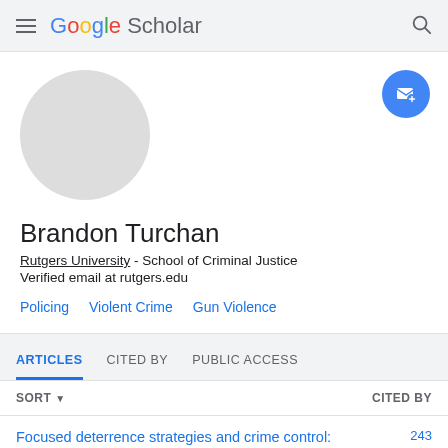Google Scholar
[Figure (illustration): Default grey circular avatar placeholder for user profile photo]
Brandon Turchan
Rutgers University - School of Criminal Justice
Verified email at rutgers.edu
Policing
Violent Crime
Gun Violence
ARTICLES   CITED BY   PUBLIC ACCESS
SORT ▾    CITED BY
Focused deterrence strategies and crime control:    243